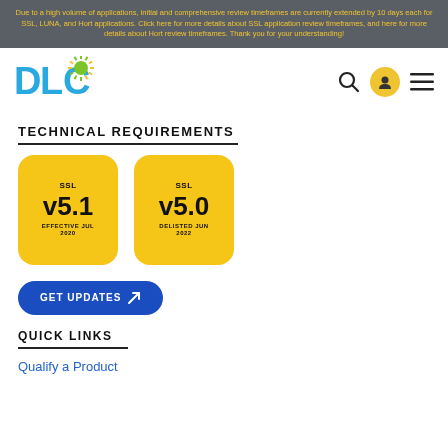Due to a high volume of applications, initial and comprehensive review timeframes are currently extended by 10 days each for SSL, LUNA, and Hort applications. Click here for more details about SSL application review timeframes, and here for more details about Hort review timeframes. Thank you for your understanding!
[Figure (logo): DLC logo with blue and green stylized letters and sunburst graphic]
TECHNICAL REQUIREMENTS
[Figure (infographic): Two yellow rounded square cards: SSL v5.1 EFFECTIVE JUL 2020 and SSL v5.0 DELISTED JUN 2022]
[Figure (other): Blue rounded button labeled GET UPDATES with arrow icon]
QUICK LINKS
Qualify a Product